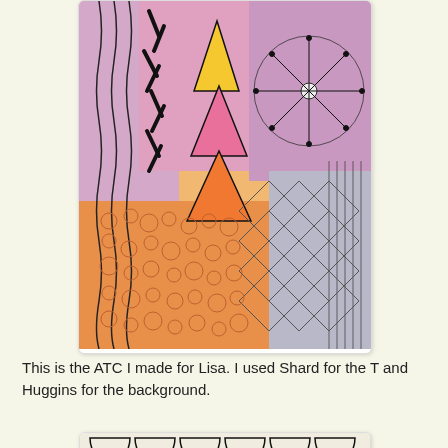[Figure (illustration): Colorful ATC artwork with pink/orange/purple watercolor background featuring triangles in yellow, pink, and orange arranged as a T shape, surrounded by zentangle patterns including Shard and Huggins patterns in black ink.]
This is the ATC I made for Lisa. I used Shard for the T and Huggins for the background.
[Figure (illustration): Black and white zentangle ATC artwork featuring Huggins pattern (interlocking hourglass/bow-tie shapes) forming a border around a central T-shaped area filled with leaf/feather zentangle patterns with fine parallel lines.]